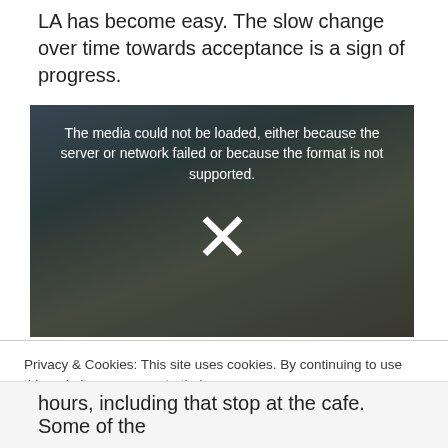LA has become easy. The slow change over time towards acceptance is a sign of progress.
[Figure (screenshot): Video player showing error message 'The media could not be loaded, either because the server or network failed or because the format is not supported.' with an X icon overlaid on a dark background image of cyclists riding bicycles.]
Privacy & Cookies: This site uses cookies. By continuing to use this website, you agree to their use.
To find out more, including how to control cookies, see here: Cookie Policy
hours, including that stop at the cafe. Some of the